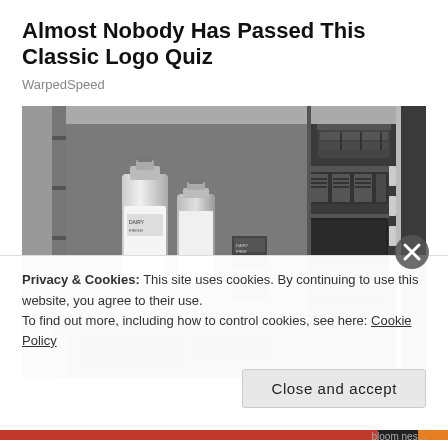Almost Nobody Has Passed This Classic Logo Quiz
WarpedSpeed
[Figure (photo): Black and white photograph of the interior of an open vintage refrigerator showing two glass milk bottles, food items on shelves, and a 'MEATS' drawer at the bottom right.]
Privacy & Cookies: This site uses cookies. By continuing to use this website, you agree to their use.
To find out more, including how to control cookies, see here: Cookie Policy
Close and accept